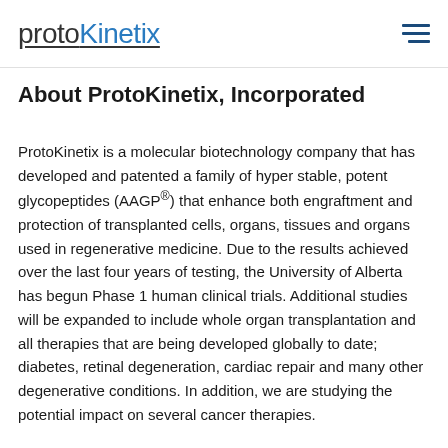protoKinetix
About ProtoKinetix, Incorporated
ProtoKinetix is a molecular biotechnology company that has developed and patented a family of hyper stable, potent glycopeptides (AAGP®) that enhance both engraftment and protection of transplanted cells, organs, tissues and organs used in regenerative medicine. Due to the results achieved over the last four years of testing, the University of Alberta has begun Phase 1 human clinical trials. Additional studies will be expanded to include whole organ transplantation and all therapies that are being developed globally to date; diabetes, retinal degeneration, cardiac repair and many other degenerative conditions. In addition, we are studying the potential impact on several cancer therapies.